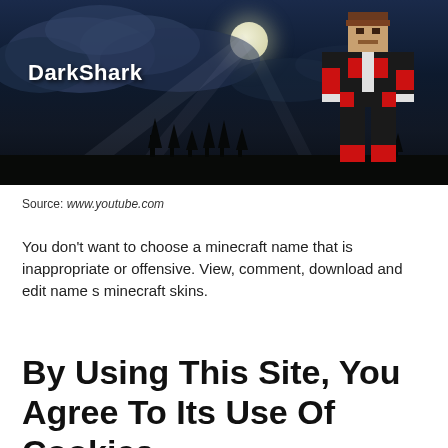[Figure (screenshot): YouTube thumbnail screenshot showing a Minecraft character (DarkShark) on a dark night scene with moon and clouds. The character wears a red and black outfit. The text 'DarkShark' appears in bold white on the left side of the image.]
Source: www.youtube.com
You don't want to choose a minecraft name that is inappropriate or offensive. View, comment, download and edit name s minecraft skins.
By Using This Site, You Agree To Its Use Of Cookies.